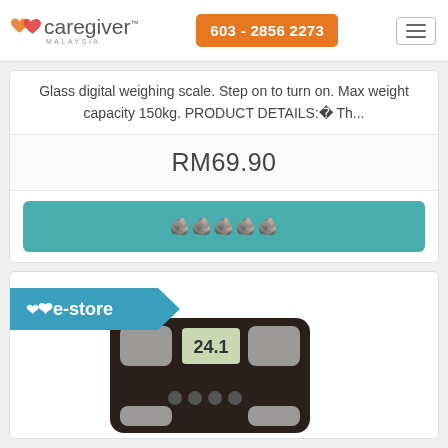[Figure (logo): Caregiver Malaysia logo with heart icons and orange phone button and hamburger menu]
Glass digital weighing scale. Step on to turn on. Max weight capacity 150kg. PRODUCT DETAILS:¿ Th...
RM69.90
¿¿¿¿¿
[Figure (photo): Tanita body composition scale with LCD display showing 24.1, dark brown/black color with four corner pads]